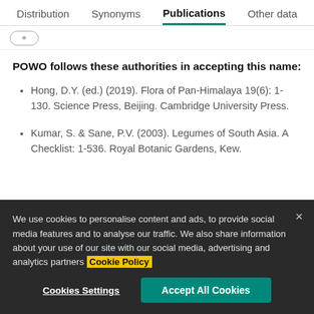Distribution | Synonyms | Publications | Other data
POWO follows these authorities in accepting this name:
Hong, D.Y. (ed.) (2019). Flora of Pan-Himalaya 19(6): 1-130. Science Press, Beijing. Cambridge University Press.
Kumar, S. & Sane, P.V. (2003). Legumes of South Asia. A Checklist: 1-536. Royal Botanic Gardens, Kew.
We use cookies to personalise content and ads, to provide social media features and to analyse our traffic. We also share information about your use of our site with our social media, advertising and analytics partners Cookie Policy
Cookies Settings | Accept All Cookies